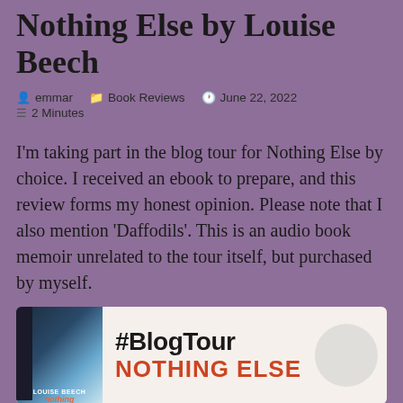Nothing Else by Louise Beech
emmar   Book Reviews   June 22, 2022   2 Minutes
I'm taking part in the blog tour for Nothing Else by choice. I received an ebook to prepare, and this review forms my honest opinion. Please note that I also mention 'Daffodils'. This is an audio book memoir unrelated to the tour itself, but purchased by myself.
[Figure (other): Blog tour banner for Nothing Else by Louise Beech showing the book cover on the left, #BlogTour hashtag in bold text in the center, and NOTHING ELSE in large red capital letters below it, with a circular decorative element on the right.]